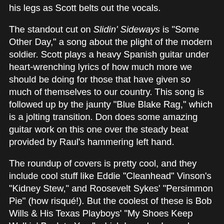his legs as Scott belts out the vocals.
The standout cut on Slidin' Sideways is "Some Other Day," a song about the plight of the modern soldier. Scott plays a heavy Spanish guitar under heart-wrenching lyrics of how much more we should be doing for those that have given so much of themselves to our country. This song is followed up by the jaunty "Blue Blake Rag," which is a jolting transition. Don does some amazing guitar work on this one over the steady beat provided by Raul's hammering left hand.
The roundup of covers is pretty cool, and they include cool stuff like Eddie "Cleanhead" Vinson's "Kidney Stew," and Roosevelt Sykes' "Persimmon Pie" (how risqué!). But the coolest of these is Bob Wills & His Texas Playboys' "My Shoes Keep Walkin' Back to You," which has also been done very well by Ray Price, Johnny Cash, and Elvis Costello. This is heady company and Don Scott holds his own with just his hard-hitting guitar to back up his plaintive wails of loneliness.
You will find that all of the songs are neat, but there are a few production issues with noise and volume levels that